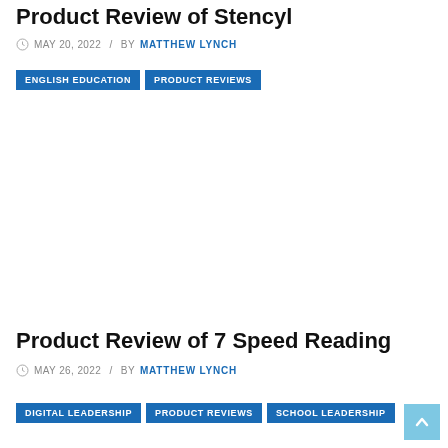Product Review of Stencyl
MAY 20, 2022 / BY MATTHEW LYNCH
ENGLISH EDUCATION
PRODUCT REVIEWS
Product Review of 7 Speed Reading
MAY 26, 2022 / BY MATTHEW LYNCH
DIGITAL LEADERSHIP
PRODUCT REVIEWS
SCHOOL LEADERSHIP